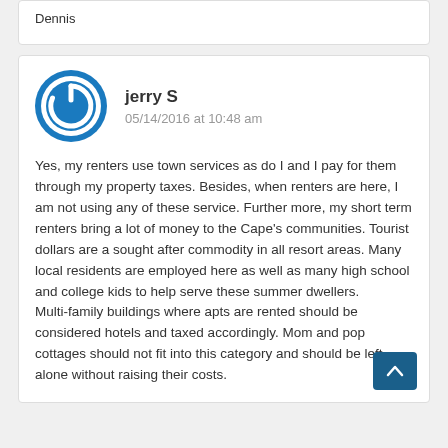Dennis
jerry S
05/14/2016 at 10:48 am
Yes, my renters use town services as do I and I pay for them through my property taxes. Besides, when renters are here, I am not using any of these service. Further more, my short term renters bring a lot of money to the Cape’s communities. Tourist dollars are a sought after commodity in all resort areas. Many local residents are employed here as well as many high school and college kids to help serve these summer dwellers.
Multi-family buildings where apts are rented should be considered hotels and taxed accordingly. Mom and pop cottages should not fit into this category and should be left alone without raising their costs.